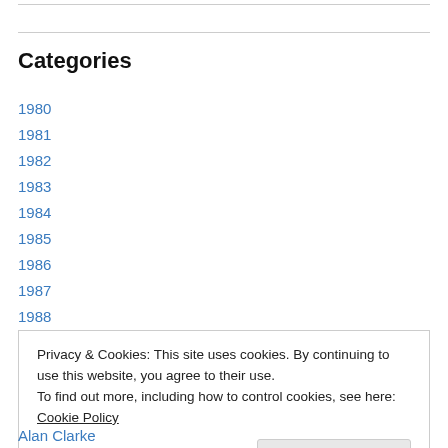Categories
1980
1981
1982
1983
1984
1985
1986
1987
1988
Privacy & Cookies: This site uses cookies. By continuing to use this website, you agree to their use.
To find out more, including how to control cookies, see here: Cookie Policy
[Close and accept]
Alan Clarke